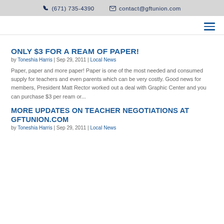(671) 735-4390   contact@gftunion.com
ONLY $3 FOR A REAM OF PAPER!
by Toneshia Harris | Sep 29, 2011 | Local News
Paper, paper and more paper!  Paper is one of the most needed and consumed supply for teachers and even parents which can be very costly.   Good news for members, President Matt Rector worked out a deal with Graphic Center and you can purchase $3 per ream or...
MORE UPDATES ON TEACHER NEGOTIATIONS AT GFTUNION.COM
by Toneshia Harris | Sep 29, 2011 | Local News